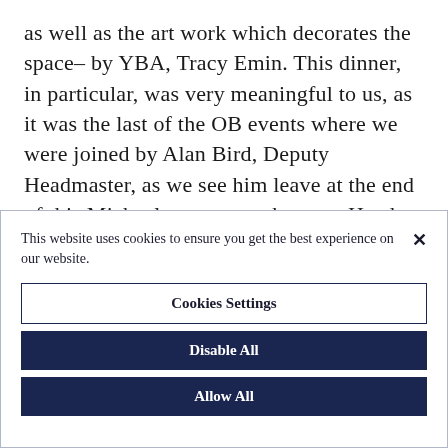as well as the art work which decorates the space– by YBA, Tracy Emin. This dinner, in particular, was very meaningful to us, as it was the last of the OB events where we were joined by Alan Bird, Deputy Headmaster, as we see him leave at the end of this Michaelmas term to become Head Master at the City of London School. Tessa Hutchinson (Fe. 2006-13) shared with us some of
This website uses cookies to ensure you get the best experience on our website.
Cookies Settings
Disable All
Allow All